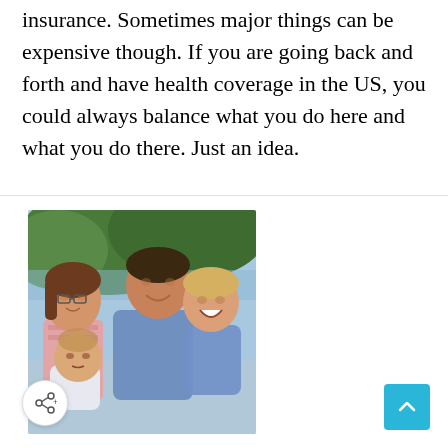insurance. Sometimes major things can be expensive though. If you are going back and forth and have health coverage in the US, you could always balance what you do here and what you do there. Just an idea.
[Figure (photo): A smiling family of four outdoors: a woman with glasses, a man, a toddler boy, and an infant, with green trees and water in the background.]